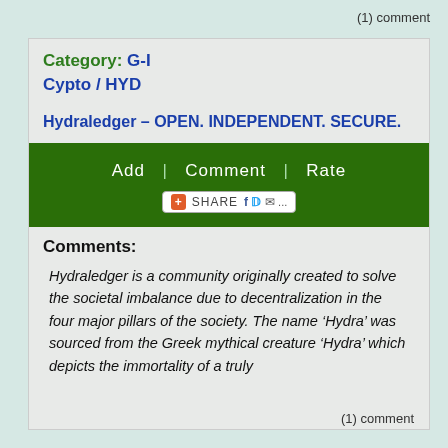(1) comment
Category: G-I
Cypto / HYD
Hydraledger – OPEN. INDEPENDENT. SECURE.
[Figure (other): Green navigation bar with links: Add | Comment | Rate, and a share button with social icons]
Comments:
Hydraledger is a community originally created to solve the societal imbalance due to decentralization in the four major pillars of the society. The name ‘Hydra’ was sourced from the Greek mythical creature ‘Hydra’ which depicts the immortality of a truly
(1) comment